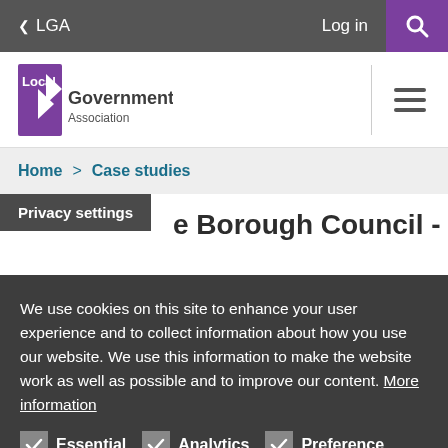< LGA   Log in  [Search]
[Figure (logo): Local Government Association logo with purple bracket icon and text 'Local Government Association']
Home > Case studies
...e Borough Council - (partial, obscured by privacy settings overlay)
Privacy settings
We use cookies on this site to enhance your user experience and to collect information about how you use our website. We use this information to make the website work as well as possible and to improve our content. More information
Essential
Analytics
Preference